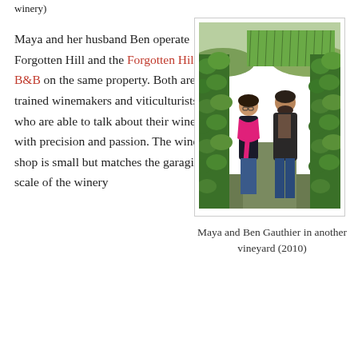winery)
Maya and her husband Ben operate Forgotten Hill and the Forgotten Hill B&B on the same property. Both are trained winemakers and viticulturists who are able to talk about their wines with precision and passion. The wine shop is small but matches the garagiste scale of the winery
[Figure (photo): Maya and Ben Gauthier standing together in a vineyard with green grapevines surrounding them. Maya is wearing a pink/magenta scarf and Ben is wearing a dark jacket. Vineyard rows visible in background.]
Maya and Ben Gauthier in another vineyard (2010)